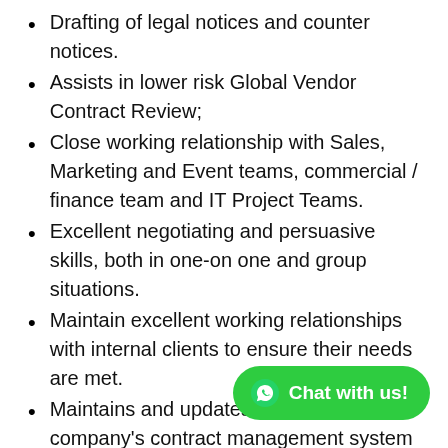Drafting of legal notices and counter notices.
Assists in lower risk Global Vendor Contract Review;
Close working relationship with Sales, Marketing and Event teams, commercial / finance team and IT Project Teams.
Excellent negotiating and persuasive skills, both in one-on one and group situations.
Maintain excellent working relationships with internal clients to ensure their needs are met.
Maintains and updates company's contract management system